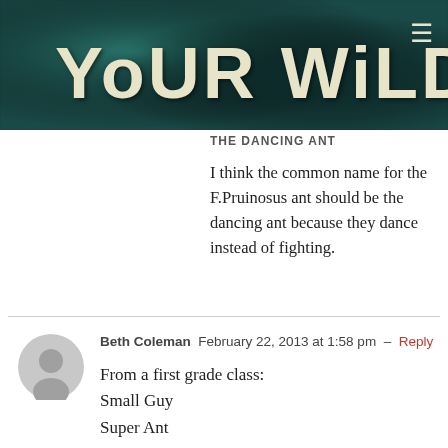[Figure (logo): Your Wild Life website header banner with teal/dark green textured background and white serif title text reading YOUR WILD LIFE]
THE DANCING ANT
I think the common name for the F.Pruinosus ant should be the dancing ant because they dance instead of fighting.
[Figure (photo): Gray circular avatar silhouette icon for commenter Beth Coleman]
Beth Coleman  February 22, 2013 at 1:58 pm  –  Reply
From a first grade class:
Small Guy
Super Ant
Fun Eye Ant
Dance Ant